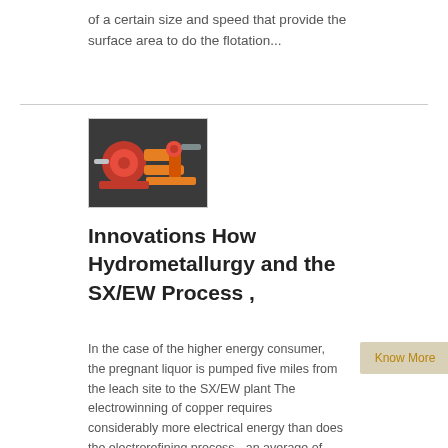of a certain size and speed that provide the surface area to do the flotation...
[Figure (photo): Industrial machinery photo with orange/red mechanical components]
Innovations How Hydrometallurgy and the SX/EW Process ,
In the case of the higher energy consumer, the pregnant liquor is pumped five miles from the leach site to the SX/EW plant The electrowinning of copper requires considerably more electrical energy than does the electrorefining process - an average of about 8 MJ/kg for ,...